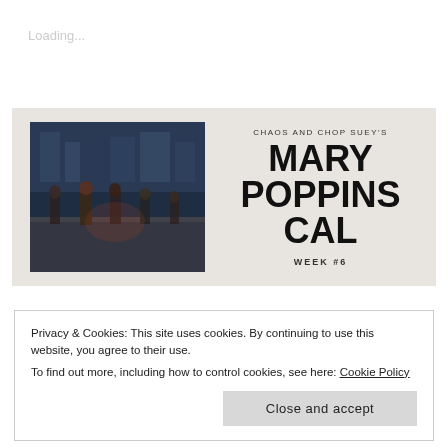Loading...
[Figure (photo): Banner image for 'Chaos and Chop Suey's Mary Poppins Cal Week #6'. Left side shows a movie still with dark-toned scene of people on a rooftop. Right side has large bold text on a beige/tan background reading 'CHAOS AND CHOP SUEY'S / MARY POPPINS CAL / WEEK #6'.]
Privacy & Cookies: This site uses cookies. By continuing to use this website, you agree to their use.
To find out more, including how to control cookies, see here: Cookie Policy
Close and accept